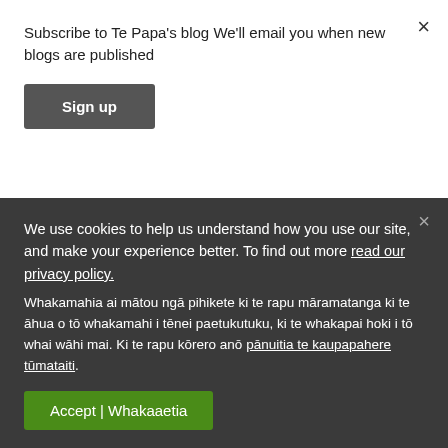Subscribe to Te Papa's blog We'll email you when new blogs are published
Sign up
petrels returning to their breeding burrows (the subject of my next blog).
[Figure (photo): Outdoor rocky hillside landscape photo]
We use cookies to help us understand how you use our site, and make your experience better. To find out more read our privacy policy. Whakamahia ai mātou ngā pihikete ki te rapu māramatanga ki te āhua o tō whakamahi i tēnei paetukutuku, ki te whakapai hoki i tō whai wāhi mai. Ki te rapu kōrero anō pānuitia te kaupapahere tūmataiti.
Accept | Whakaaetia